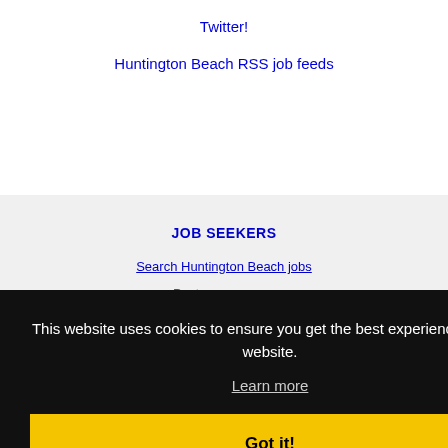Twitter!
Huntington Beach RSS job feeds
JOB SEEKERS
Search Huntington Beach jobs
Post your resume
EMPLOYERS
Post jobs
Search resumes
This website uses cookies to ensure you get the best experience on our website.
Learn more
Got it!